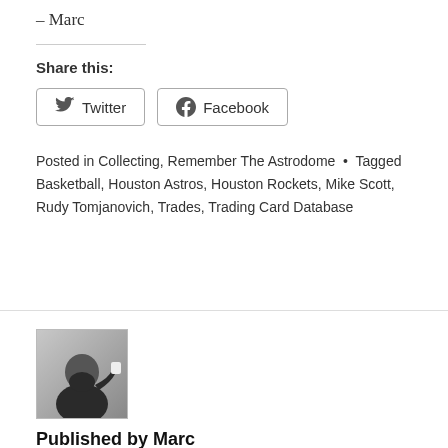– Marc
Share this:
Twitter   Facebook
Posted in Collecting, Remember The Astrodome • Tagged Basketball, Houston Astros, Houston Rockets, Mike Scott, Rudy Tomjanovich, Trades, Trading Card Database
[Figure (photo): Black and white author photo of Marc, a bearded man drinking from a cup]
Published by Marc
View all posts by Marc